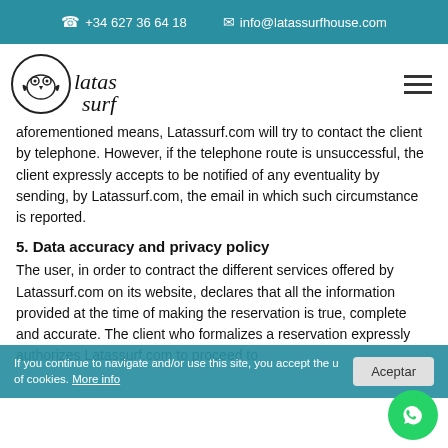+34 627 36 64 18   info@latassurfhouse.com
[Figure (logo): Latas Surf logo with circular emblem and handwritten text]
aforementioned means, Latassurf.com will try to contact the client by telephone. However, if the telephone route is unsuccessful, the client expressly accepts to be notified of any eventuality by sending, by Latassurf.com, the email in which such circumstance is reported.
5. Data accuracy and privacy policy
The user, in order to contract the different services offered by Latassurf.com on its website, declares that all the information provided at the time of making the reservation is true, complete and accurate. The client who formalizes a reservation expressly authorizes Latassurf.com to proceed to